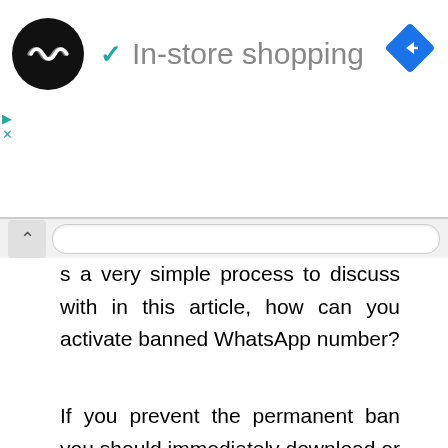[Figure (screenshot): Ad banner with black circular logo with infinity-like symbol, teal checkmark, grey 'In-store shopping' text, and blue diamond navigation icon on the right. Small teal play and close icons bottom-left.]
s a very simple process to discuss with in this article, how can you activate banned WhatsApp number?
If you prevent the permanent ban you should immediately download or save the official version of the app. Ignore the others app because it doesn't provide the end-to-end encryption feature. Hope this article on how can i activate my banned WhatsApp number helps you.